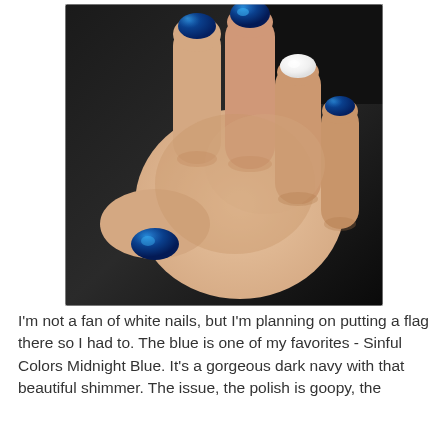[Figure (photo): A close-up photograph of a hand forming a fist, showing four fingernails painted in shimmery dark navy blue (Sinful Colors Midnight Blue) and one fingernail (ring finger) painted white. The background is dark.]
I'm not a fan of white nails, but I'm planning on putting a flag there so I had to.  The blue is one of my favorites - Sinful Colors Midnight Blue.  It's a gorgeous dark navy with that beautiful shimmer.  The issue, the polish is goopy, the